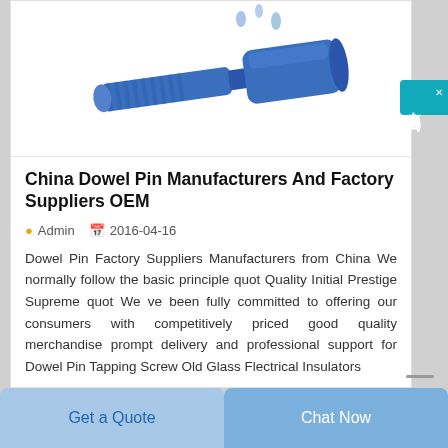[Figure (photo): Blue dowel pin / connector product photo on white background]
China Dowel Pin Manufacturers And Factory Suppliers OEM
Admin   2016-04-16
Dowel Pin Factory Suppliers Manufacturers from China We normally follow the basic principle quot Quality Initial Prestige Supreme quot We ve been fully committed to offering our consumers with competitively priced good quality merchandise prompt delivery and professional support for Dowel Pin Tapping Screw Old Glass Flectrical Insulators